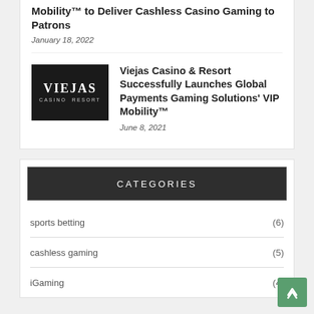Mobility™ to Deliver Cashless Casino Gaming to Patrons
January 18, 2022
[Figure (logo): Viejas Casino & Resort logo — white text on black background]
Viejas Casino & Resort Successfully Launches Global Payments Gaming Solutions' VIP Mobility™
June 8, 2021
CATEGORIES
sports betting (6)
cashless gaming (5)
iGaming (4)